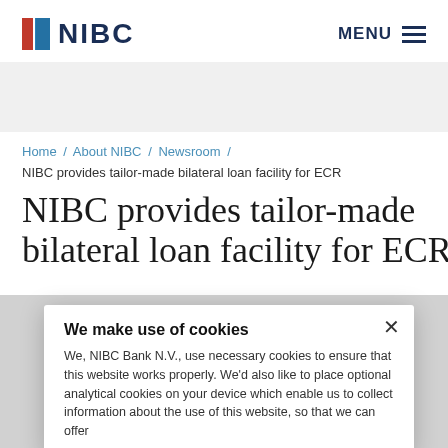NIBC  MENU
Home / About NIBC / Newsroom /
NIBC provides tailor-made bilateral loan facility for ECR
NIBC provides tailor-made bilateral loan facility for ECR
We make use of cookies
We, NIBC Bank N.V., use necessary cookies to ensure that this website works properly. We'd also like to place optional analytical cookies on your device which enable us to collect information about the use of this website, so that we can offer